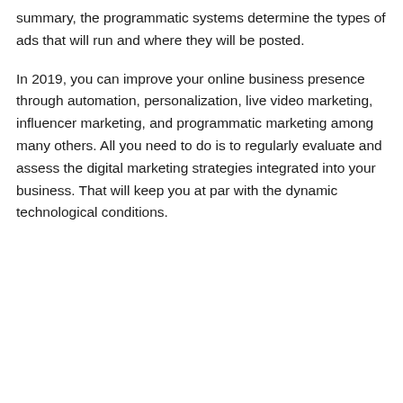summary, the programmatic systems determine the types of ads that will run and where they will be posted.
In 2019, you can improve your online business presence through automation, personalization, live video marketing, influencer marketing, and programmatic marketing among many others. All you need to do is to regularly evaluate and assess the digital marketing strategies integrated into your business. That will keep you at par with the dynamic technological conditions.